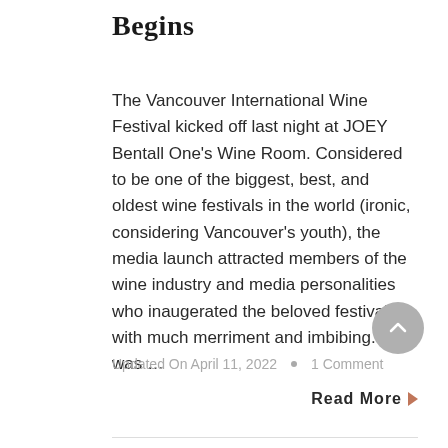Begins
The Vancouver International Wine Festival kicked off last night at JOEY Bentall One's Wine Room. Considered to be one of the biggest, best, and oldest wine festivals in the world (ironic, considering Vancouver's youth), the media launch attracted members of the wine industry and media personalities who inaugerated the beloved festival with much merriment and imbibing. I was ...
Updated On April 11, 2022  •  1 Comment
Read More